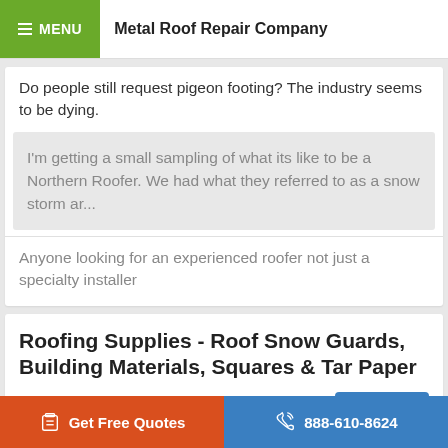MENU   Metal Roof Repair Company
Do people still request pigeon footing? The industry seems to be dying.
I'm getting a small sampling of what its like to be a Northern Roofer. We had what they referred to as a snow storm ar...
Anyone looking for an experienced roofer not just a specialty installer
Roofing Supplies - Roof Snow Guards, Building Materials, Squares & Tar Paper
See All
Get Free Quotes   888-610-8624